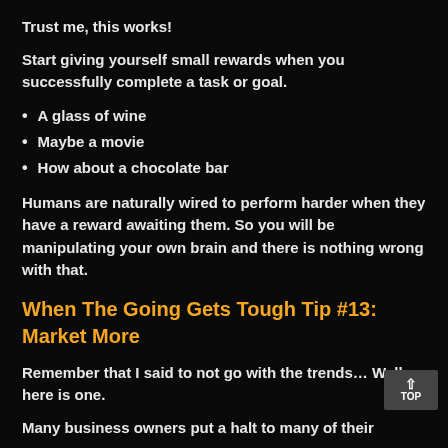Trust me, this works!
Start giving yourself small rewards when you successfully complete a task or goal.
A glass of wine
Maybe a movie
How about a chocolate bar
Humans are naturally wired to perform harder when they have a reward awaiting them. So you will be manipulating your own brain and there is nothing wrong with that.
When The Going Gets Tough Tip #13: Market More
Remember that I said to not go with the trends… Well here is one.
Many business owners put a halt to many of their